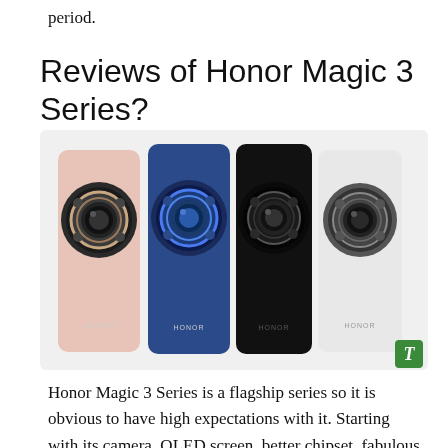period.
Reviews of Honor Magic 3 Series?
[Figure (photo): Four Honor Magic 3 Series smartphones shown from the back, displaying four color variants: rose gold/pink, blue, black, and white/silver. Each phone features a large circular camera module with multiple lenses. The HONOR branding is visible on the lower portion of each device. A green icon with the letter T appears in the bottom-right corner of the image.]
Honor Magic 3 Series is a flagship series so it is obvious to have high expectations with it. Starting with its camera, OLED screen, better chipset, fabulous design, and long-lasting battery, we can say every single domain is perfectly